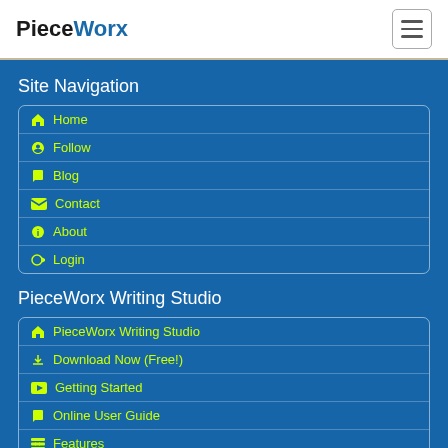PieceWorx
Site Navigation
Home
Follow
Blog
Contact
About
Login
PieceWorx Writing Studio
PieceWorx Writing Studio
Download Now (Free!)
Getting Started
Online User Guide
Features
More